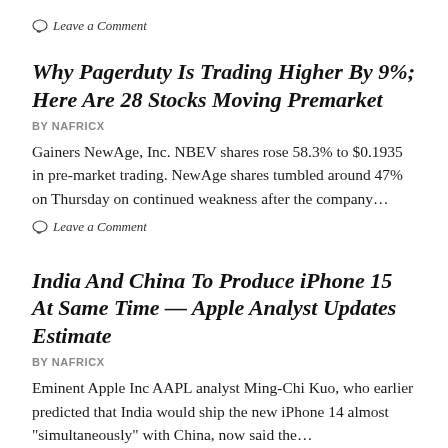Leave a Comment
Why Pagerduty Is Trading Higher By 9%; Here Are 28 Stocks Moving Premarket
BY NAFRICX
Gainers NewAge, Inc. NBEV shares rose 58.3% to $0.1935 in pre-market trading. NewAge shares tumbled around 47% on Thursday on continued weakness after the company...
Leave a Comment
India And China To Produce iPhone 15 At Same Time — Apple Analyst Updates Estimate
BY NAFRICX
Eminent Apple Inc AAPL analyst Ming-Chi Kuo, who earlier predicted that India would ship the new iPhone 14 almost "simultaneously" with China, now said the...
Leave a Comment